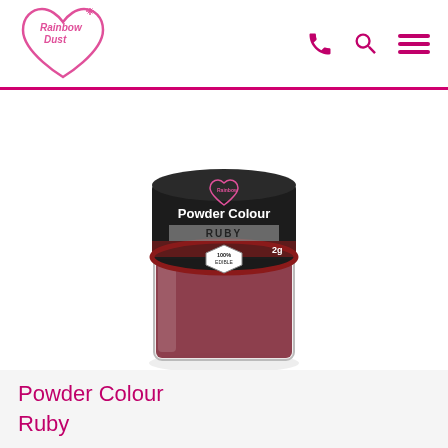Rainbow Dust
[Figure (photo): A small round jar of Rainbow Dust Powder Colour in Ruby shade. The jar has a dark lid with the Rainbow Dust logo, 'Powder Colour' text, 'RUBY' label, '100% EDIBLE' badge, and '2g' weight marking. The jar body is clear/glass showing ruby-red powder inside.]
Powder Colour Ruby